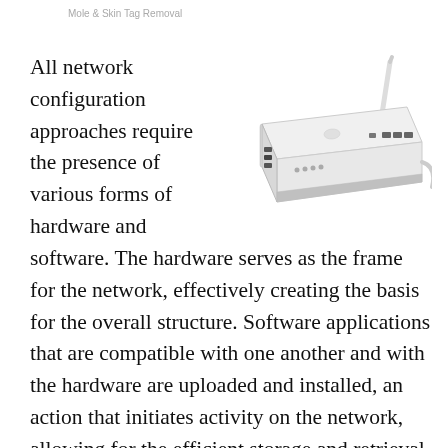Mole & Skin Tag Removal
[Figure (photo): A white wireless router with a single antenna and multiple ethernet ports on the back, viewed from a slight angle.]
All network configuration approaches require the presence of various forms of hardware and software. The hardware serves as the frame for the network, effectively creating the basis for the overall structure. Software applications that are compatible with one another and with the hardware are uploaded and installed, an action that initiates activity on the network, allowing for the efficient storage and retrieval of all types of data.